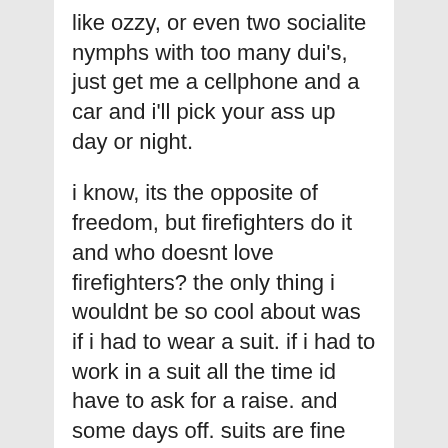like ozzy, or even two socialite nymphs with too many dui's, just get me a cellphone and a car and i'll pick your ass up day or night.
i know, its the opposite of freedom, but firefighters do it and who doesnt love firefighters? the only thing i wouldnt be so cool about was if i had to wear a suit. if i had to work in a suit all the time id have to ask for a raise. and some days off. suits are fine for some people but im sorry i dont care if the socialites blow me twice a day im not gonna wear a suit and tie in LA.
outside the standard the other day i saw two dudes in suits supervising the team of valet runners right in front of the main entrance. it